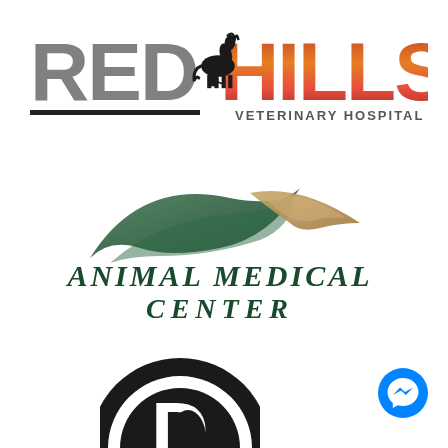[Figure (logo): Red Hills Veterinary Hospital logo with large grey letters RED and orange/red letters HILLS with a black horse and cat silhouette between them, and VETERINARY HOSPITAL in small caps below HILLS]
[Figure (logo): Animal Medical Center logo with swooping green and tan/beige curved shapes above the text ANIMAL MEDICAL CENTER in dark green serif font]
[Figure (logo): Partial circular black and white logo with large letter D visible inside a thick black ring, only top portion visible]
[Figure (logo): Facebook Messenger blue circle icon with white lightning bolt chat symbol]